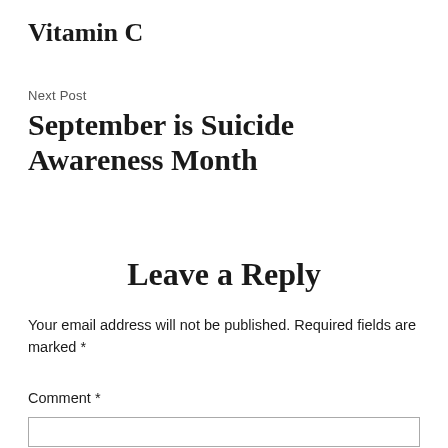Vitamin C
Next Post
September is Suicide Awareness Month
Leave a Reply
Your email address will not be published. Required fields are marked *
Comment *